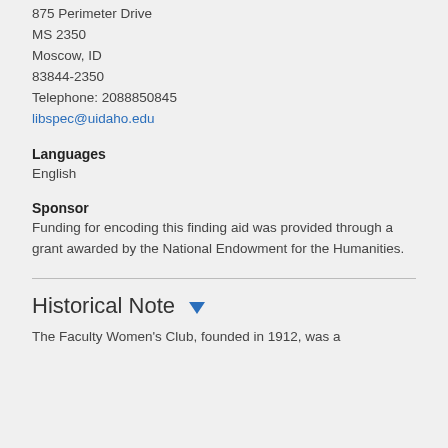875 Perimeter Drive
MS 2350
Moscow, ID
83844-2350
Telephone: 2088850845
libspec@uidaho.edu
Languages
English
Sponsor
Funding for encoding this finding aid was provided through a grant awarded by the National Endowment for the Humanities.
Historical Note
The Faculty Women's Club, founded in 1912, was a